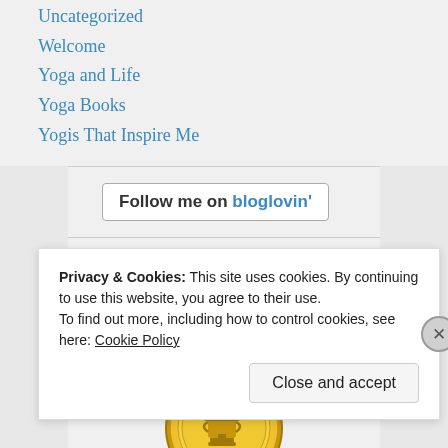Uncategorized
Welcome
Yoga and Life
Yoga Books
Yogis That Inspire Me
[Figure (other): Follow me on bloglovin' button]
[Figure (illustration): Gold medal with red ribbon award illustration]
Privacy & Cookies: This site uses cookies. By continuing to use this website, you agree to their use.
To find out more, including how to control cookies, see here: Cookie Policy
Close and accept